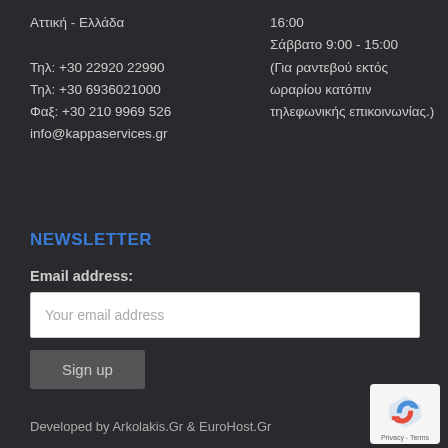Αττική - Ελλάδα
Τηλ: +30 22920 22990
Τηλ: +30 6936021000
Φαξ: +30 210 9969 526
info@kappaservices.gr
16:00
Σάββατο 9:00 - 15:00
(Για ραντεβού εκτός ωραρίου κατόπιν τηλεφωνικής επικοινωνίας.)
NEWSLETTER
Email address:
Your email address
Sign up
Developed by Arkolakis.Gr & EuroHost.Gr